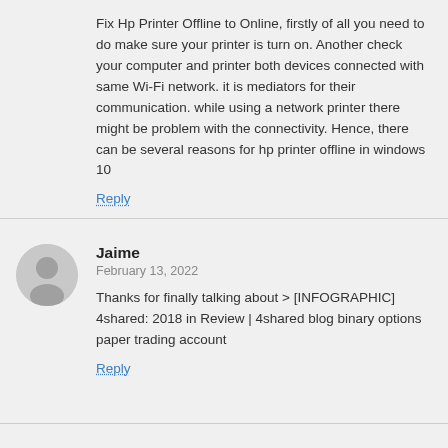Fix Hp Printer Offline to Online, firstly of all you need to do make sure your printer is turn on. Another check your computer and printer both devices connected with same Wi-Fi network. it is mediators for their communication. while using a network printer there might be problem with the connectivity. Hence, there can be several reasons for hp printer offline in windows 10
Reply
Jaime
February 13, 2022
Thanks for finally talking about > [INFOGRAPHIC] 4shared: 2018 in Review | 4shared blog binary options paper trading account
Reply